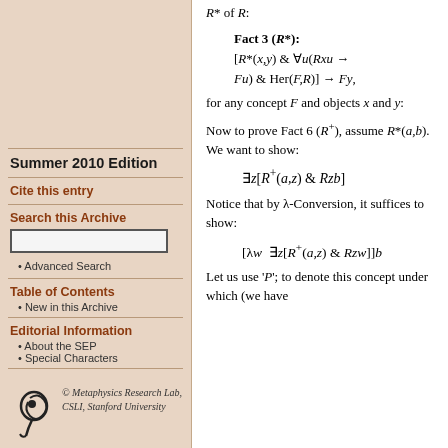Summer 2010 Edition
Cite this entry
Search this Archive
Advanced Search
Table of Contents
New in this Archive
Editorial Information
About the SEP
Special Characters
© Metaphysics Research Lab, CSLI, Stanford University
R* of R:
for any concept F and objects x and y:
Now to prove Fact 6 (R⁺), assume R*(a,b). We want to show:
Notice that by λ-Conversion, it suffices to show:
Let us use 'P'; to denote this concept under which (we have